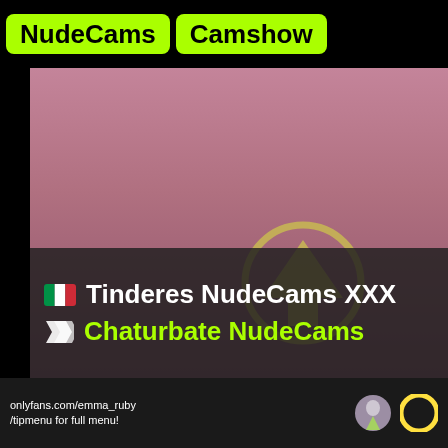NudeCams | Camshow
[Figure (screenshot): Video thumbnail showing a pinkish-mauve background with a large golden upward arrow in a circle overlay in the lower-right area]
🇮🇹 Tinderes NudeCams XXX
🏷 Chaturbate NudeCams
onlyfans.com/emma_ruby
/tipmenu for full menu!